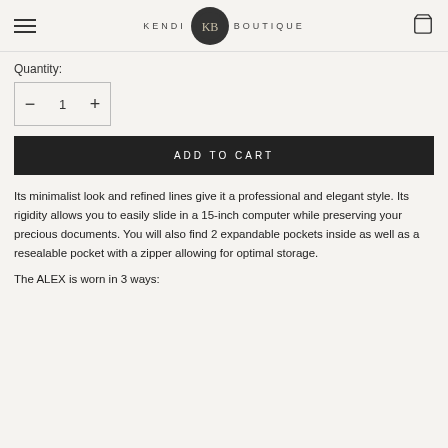KENDI KB BOUTIQUE
Quantity:
− 1 +
ADD TO CART
Its minimalist look and refined lines give it a professional and elegant style. Its rigidity allows you to easily slide in a 15-inch computer while preserving your precious documents. You will also find 2 expandable pockets inside as well as a resealable pocket with a zipper allowing for optimal storage.
The ALEX is worn in 3 ways: